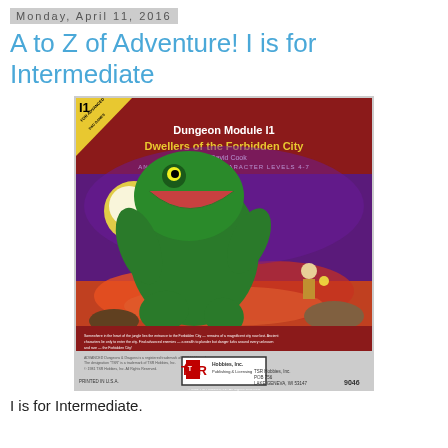Monday, April 11, 2016
A to Z of Adventure! I is for Intermediate
[Figure (photo): Book cover of Dungeon Module I1: Dwellers of the Forbidden City by David Cook, an Advanced D&D adventure module for character levels 4-7. Red cover with yellow triangle badge showing 'I1', featuring fantasy art of a large frog-like monster attacking a small adventurer. Published by TSR Hobbies Inc., product number 9046.]
I is for Intermediate.